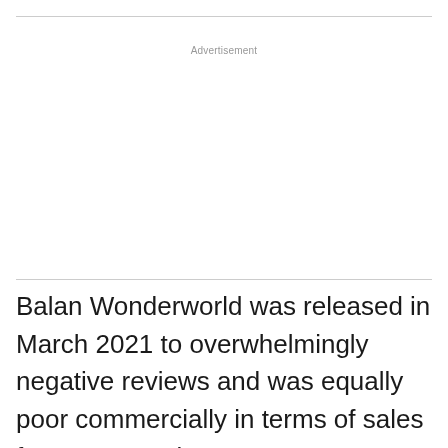Advertisement
Balan Wonderworld was released in March 2021 to overwhelmingly negative reviews and was equally poor commercially in terms of sales for Square Enix.